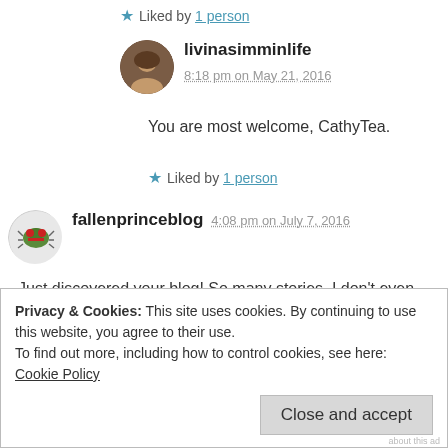Liked by 1 person
livinasimminlife 8:18 pm on May 21, 2016
You are most welcome, CathyTea.
Liked by 1 person
fallenprinceblog 4:08 pm on July 7, 2016
Just discovered your blog! So many stories. I don't even know where to begin! 🙂
Liked by 1 person
Privacy & Cookies: This site uses cookies. By continuing to use this website, you agree to their use.
To find out more, including how to control cookies, see here: Cookie Policy
Close and accept